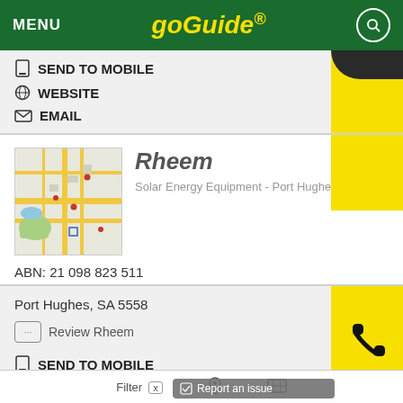MENU  GoGuide
SEND TO MOBILE
WEBSITE
EMAIL
Rheem
Solar Energy Equipment - Port Hughes, SA 5558
ABN: 21 098 823 511
Port Hughes, SA 5558
Review Rheem
SEND TO MOBILE
WEBSITE
EMAIL
Report an issue
Filter  x  [pin icon]  [map icon]